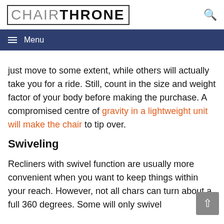CHAIRTHRONE
just move to some extent, while others will actually take you for a ride. Still, count in the size and weight factor of your body before making the purchase. A compromised centre of gravity in a lightweight unit will make the chair to tip over.
Swiveling
Recliners with swivel function are usually more convenient when you want to keep things within your reach. However, not all chars can turn about a full 360 degrees. Some will only swivel